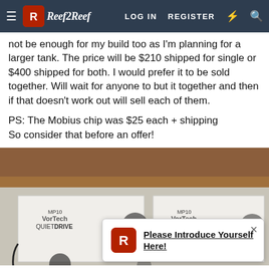Reef2Reef — LOG IN  REGISTER
not be enough for my build too as I'm planning for a larger tank. The price will be $210 shipped for single or $400 shipped for both. I would prefer it to be sold together. Will wait for anyone to but it together and then if that doesn't work out will sell each of them.
PS: The Mobius chip was $25 each + shipping
So consider that before an offer!
[Figure (photo): Photo of two MP10 VorTech QuietDrive pump boxes on a carpeted floor near wooden furniture. A popup notification reads 'Please Introduce Yourself Here!' with the Reef2Reef logo icon.]